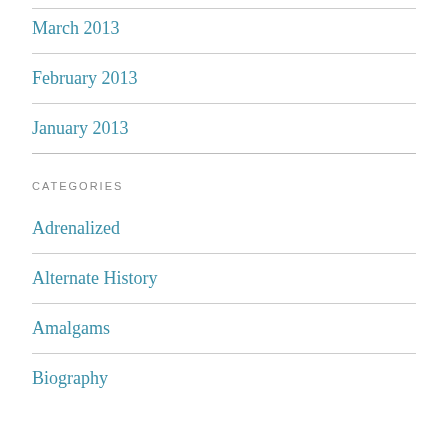March 2013
February 2013
January 2013
CATEGORIES
Adrenalized
Alternate History
Amalgams
Biography